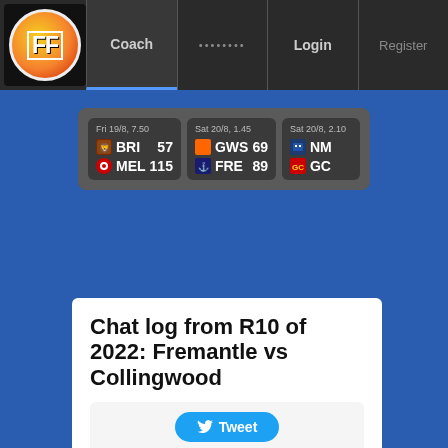FF Coach ........ Login Register
| Date | Team1 | Score1 | Team2 | Score2 |
| --- | --- | --- | --- | --- |
| Fri 19/8, 7.50 | BRI | 57 | MEL | 115 |
| Sat 20/8, 1.45 | GWS | 69 | FRE | 89 |
| Sat 20/8, 2.10 | NM |  | GC |  |
Chat log from R10 of 2022: Fremantle vs Collingwood
Tweet
Pin It